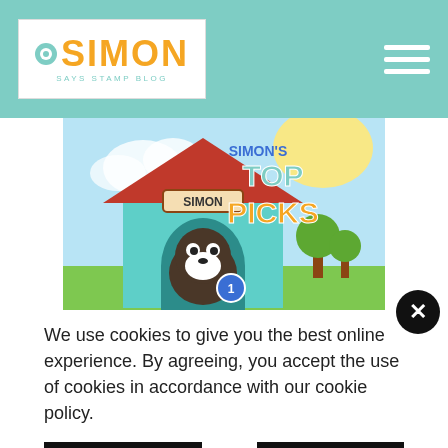Simon Says Stamp Blog
[Figure (illustration): Cartoon illustration of Simon the dog (Boston Terrier) in a dog house labeled SIMON with text 'Simon's Top Picks' and a first place ribbon]
We use cookies to give you the best online experience. By agreeing, you accept the use of cookies in accordance with our cookie policy.
DECLINE
I ACCEPT
Privacy Policy   Cookie Policy
[Figure (illustration): Partial bottom image showing cartoon dog characters]